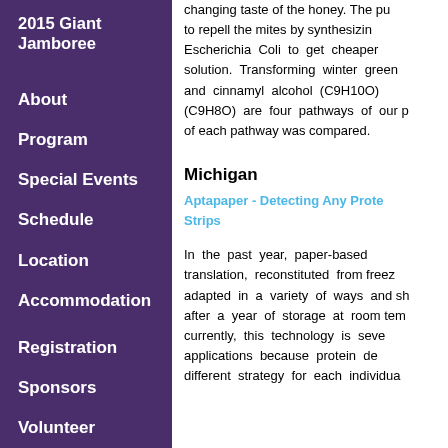2015 Giant Jamboree
About
Program
Special Events
Schedule
Location
Accommodation
Registration
Sponsors
Volunteer
changing taste of the honey. The pu to repell the mites by synthesizin Escherichia Coli to get cheaper solution. Transforming winter green and cinnamyl alcohol (C9H10O) (C9H8O) are four pathways of our p of each pathway was compared.
Michigan
Aptapaper - Detecting Any Prote Strips
In the past year, paper-based translation, reconstituted from freez adapted in a variety of ways and sh after a year of storage at room tem currently, this technology is seve applications because protein de different strategy for each individua